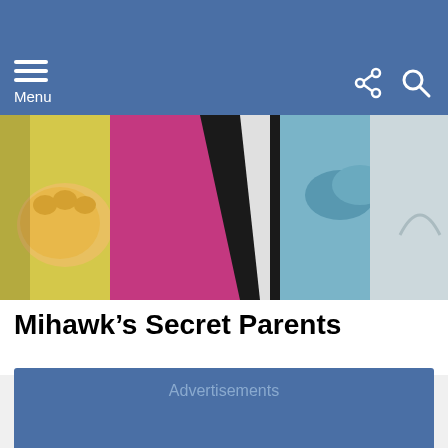Menu
[Figure (illustration): Anime-style illustration showing characters from One Piece manga/anime, featuring colorful fists and figures with pink, yellow, black and teal colors]
Mihawk’s Secret Parents
Advertisements
Advertising